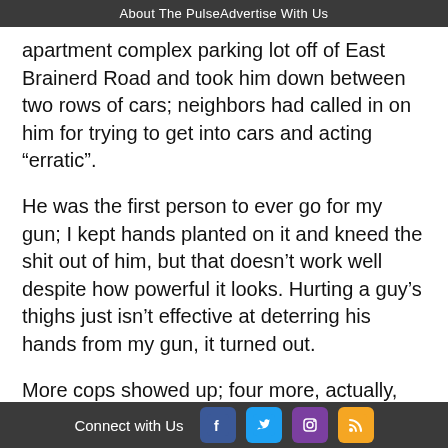About The Pulse  Advertise With Us
apartment complex parking lot off of East Brainerd Road and took him down between two rows of cars; neighbors had called in on him for trying to get into cars and acting “erratic”.
He was the first person to ever go for my gun; I kept hands planted on it and kneed the shit out of him, but that doesn’t work well despite how powerful it looks. Hurting a guy’s thighs just isn’t effective at deterring his hands from my gun, it turned out.
More cops showed up; four more, actually, and they dove in and we all held him down, one on each limb while I continued to try to get his hands out from under his chest where he’d locked his hands together to keep from being cuffed.  It turns out, you see, not everyone “quits” once the game is over.  Some play their role to the hilt, and actually don’t do as told, then ordered, then yelled.  (Any parents or jail officials
Connect with Us